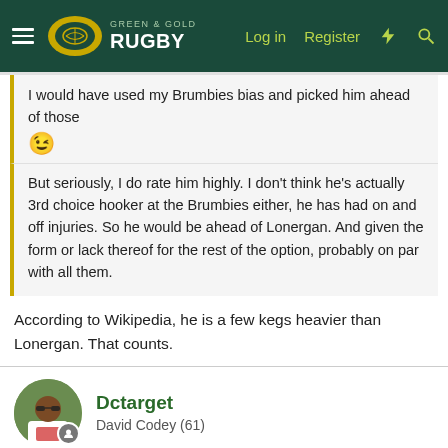Green & Gold Rugby — Log in | Register
I would have used my Brumbies bias and picked him ahead of those 😉
But seriously, I do rate him highly. I don't think he's actually 3rd choice hooker at the Brumbies either, he has had on and off injuries. So he would be ahead of Lonergan. And given the form or lack thereof for the rest of the option, probably on par with all them.
According to Wikipedia, he is a few kegs heavier than Lonergan. That counts.
Dctarget
David Codey (61)
Oct 21, 2021  #4,057
Keen to see Perese get a go, just don't know when. Will Perese be playing 12 or 13? Kerevi will play 12 all games I hope after Japan. Ikitau doesn't deserve to lose his spot either and I don't